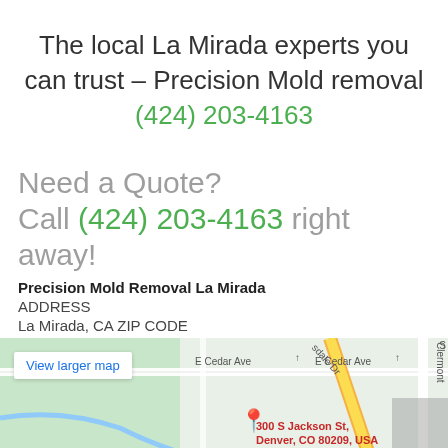The local La Mirada experts you can trust – Precision Mold removal (424) 203-4163
Need a Quote?
Call (424) 203-4163 right away!
Precision Mold Removal La Mirada
ADDRESS
La Mirada, CA ZIP CODE
[Figure (map): Google Maps embed showing location near E Cedar Ave and S Jackson St, Denver, CO 80209, USA with a View larger map link]